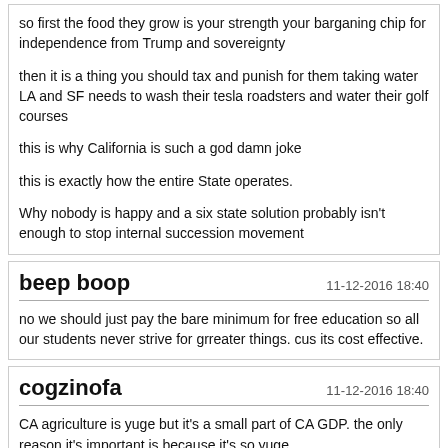so first the food they grow is your strength your barganing chip for independence from Trump and sovereignty

then it is a thing you should tax and punish for them taking water LA and SF needs to wash their tesla roadsters and water their golf courses

this is why California is such a god damn joke

this is exactly how the entire State operates.

Why nobody is happy and a six state solution probably isn't enough to stop internal succession movement
beep boop
11-12-2016 18:40
no we should just pay the bare minimum for free education so all our students never strive for grreater things. cus its cost effective.
cogzinofa
11-12-2016 18:40
CA agriculture is yuge but it's a small part of CA GDP. the only reason it's important is because it's so yuge.